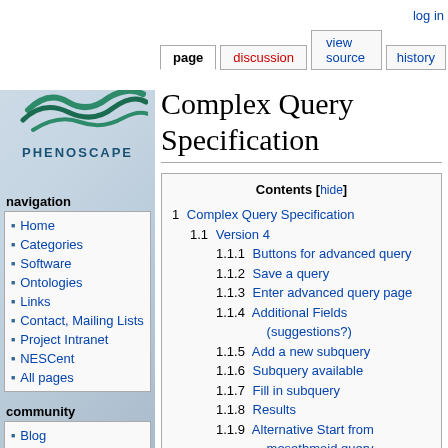log in | page | discussion | view source | history
[Figure (logo): PhenoScape logo with wave graphic and text PHENOSCAPE]
navigation
Home
Categories
Software
Ontologies
Links
Contact, Mailing Lists
Project Intranet
NESCent
All pages
community
Blog
Publications
Workshops
Contributors
Complex Query Specification
| # | Section |
| --- | --- |
| 1 | Complex Query Specification |
| 1.1 | Version 4 |
| 1.1.1 | Buttons for advanced query |
| 1.1.2 | Save a query |
| 1.1.3 | Enter advanced query page |
| 1.1.4 | Additional Fields (suggestions?) |
| 1.1.5 | Add a new subquery |
| 1.1.6 | Subquery available |
| 1.1.7 | Fill in subquery |
| 1.1.8 | Results |
| 1.1.9 | Alternative Start from mesethmoid query |
| 1.1.10 | Change to disjunction returns more results |